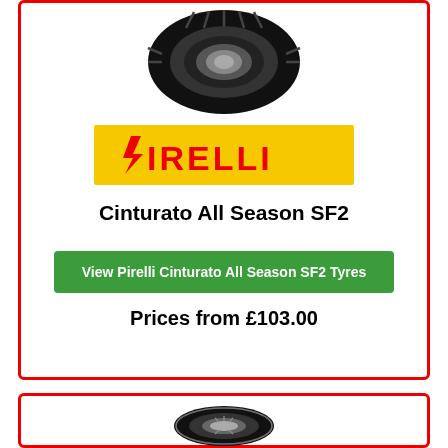[Figure (photo): Pirelli Cinturato All Season SF2 tyre viewed from front angle, black tyre on white background]
[Figure (logo): Pirelli logo on yellow background with red text]
Cinturato All Season SF2
View Pirelli Cinturato All Season SF2 Tyres
Prices from £103.00
[Figure (photo): Pirelli tyre viewed from slight angle, showing tread and silver rim, white background]